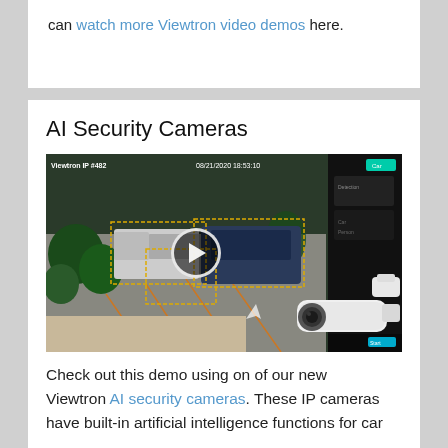can watch more Viewtron video demos here.
AI Security Cameras
[Figure (screenshot): Security camera footage of a parking lot with vehicles, AI detection bounding boxes, timestamp 08/21/2020 18:53:10, with a white bullet security camera overlaid in the foreground and a play button in the center]
Check out this demo using on of our new Viewtron AI security cameras. These IP cameras have built-in artificial intelligence functions for car